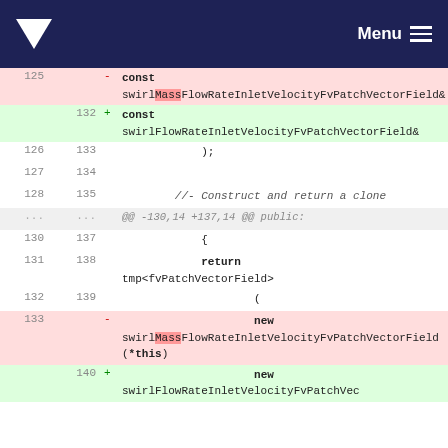Menu
Diff view of code showing changes from swirlMassFlowRateInletVelocityFvPatchVectorField to swirlFlowRateInletVelocityFvPatchVectorField
| old line | new line | sign | code |
| --- | --- | --- | --- |
| 125 |  | - | const swirlMassFlowRateInletVelocityFvPatchVectorField& |
|  | 132 | + | const swirlFlowRateInletVelocityFvPatchVectorField& |
| 126 | 133 |  | ); |
| 127 | 134 |  |  |
| 128 | 135 |  | //- Construct and return a clone |
| ... | ... |  | @@ -130,14 +137,14 @@ public: |
| 130 | 137 |  | { |
| 131 | 138 |  | return tmp<fvPatchVectorField> |
| 132 | 139 |  | ( |
| 133 |  | - | new swirlMassFlowRateInletVelocityFvPatchVectorField(*this) |
|  | 140 | + | new swirlFlowRateInletVelocityFvPatchVec |